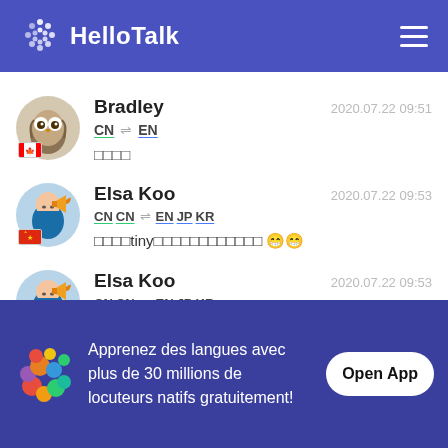HelloTalk
Bradley  2020.07.22 09:51  CN → EN  □□□□
Elsa Koo  2020.07.22 09:53  CN CN → EN JP KR  □□□□tiny□□□□□□□□□□□□ 😁😁
Elsa Koo  2020.07.22 09:53  CN CN → EN JP KR  Super great words . Thank you for sharing
Apprenez des langues avec plus de 30 millions de locuteurs natifs gratuitement!
Open App